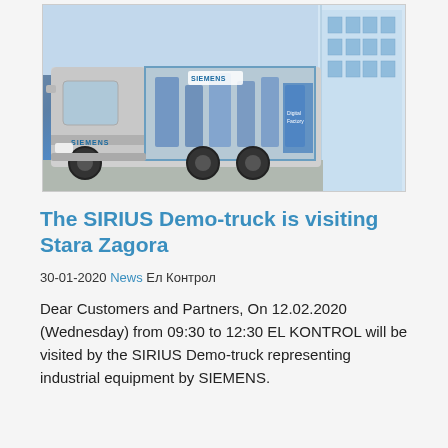[Figure (photo): A Siemens-branded demo truck with a transparent cargo section showing industrial equipment, parked in front of a modern glass building on a clear day.]
The SIRIUS Demo-truck is visiting Stara Zagora
30-01-2020 News Ел Контрол
Dear Customers and Partners, On 12.02.2020 (Wednesday) from 09:30 to 12:30 EL KONTROL will be visited by the SIRIUS Demo-truck representing industrial equipment by SIEMENS.